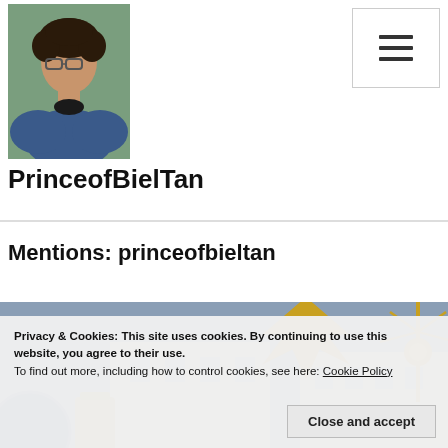[Figure (photo): Profile photo of a young man with curly hair and glasses wearing a denim jacket, positioned in the top-left header area]
[Figure (other): Hamburger menu button (three horizontal lines) in a bordered square box, top-right of header]
PrinceofBielTan
Mentions: princeofbieltan
[Figure (photo): Decorative ornamental objects photo — golden star/compass ornament and miniature building models on a blue background]
Privacy & Cookies: This site uses cookies. By continuing to use this website, you agree to their use.
To find out more, including how to control cookies, see here: Cookie Policy
Close and accept